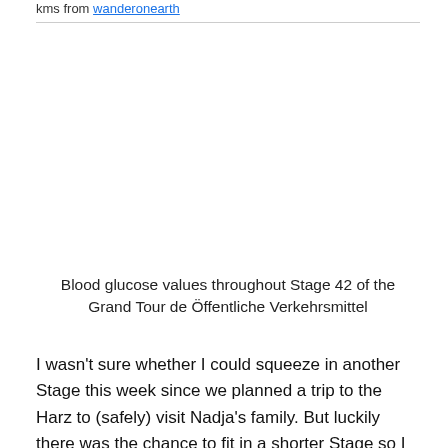kms from wanderonearth
[Figure (other): Blood glucose chart image area - appears blank/white in this crop]
Blood glucose values throughout Stage 42 of the Grand Tour de Öffentliche Verkehrsmittel
I wasn't sure whether I could squeeze in another Stage this week since we planned a trip to the Harz to (safely) visit Nadja's family. But luckily there was the chance to fit in a shorter Stage so I jumped at the